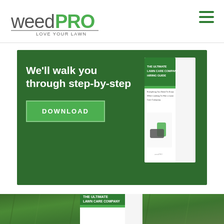[Figure (logo): weedPRO logo with green PRO text and 'LOVE YOUR LAWN' tagline]
[Figure (illustration): Hamburger menu icon with three green horizontal lines]
[Figure (illustration): Green banner advertisement for 'The Ultimate Lawn Care Company Hiring Guide' with text 'We'll walk you through step-by-step', a DOWNLOAD button, and a book graphic on green background]
[Figure (photo): Large book titled 'THE ULTIMATE LAWN CARE COMPANY HIRING GUIDE' on green grass background. Book shows 'Everything You Need To Know When Looking To Hire a Lawn Care Company.' with handshake illustration]